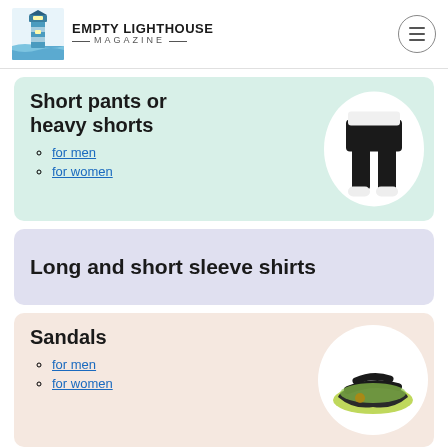EMPTY LIGHTHOUSE MAGAZINE
Short pants or heavy shorts
for men
for women
[Figure (photo): Person wearing black shorts with white sneakers]
Long and short sleeve shirts
Sandals
for men
for women
[Figure (photo): Dark sandal / flip-flop with green sole]